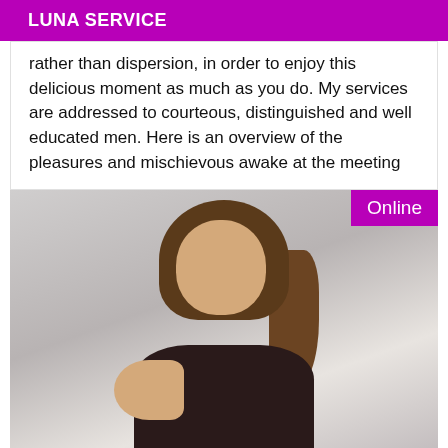LUNA SERVICE
rather than dispersion, in order to enjoy this delicious moment as much as you do. My services are addressed to courteous, distinguished and well educated men. Here is an overview of the pleasures and mischievous awake at the meeting
[Figure (photo): A woman with long brown hair wearing a dark top and jewelry, photographed against a light grey background. An 'Online' badge appears in the top-right corner.]